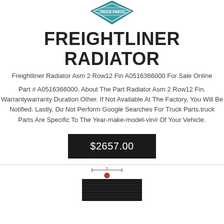[Figure (logo): Freightliner or truck parts dealer logo — diamond/shield shape with teal/blue color and striped pattern]
FREIGHTLINER RADIATOR
Freightliner Radiator Asm 2 Row12 Fin A0516366000 For Sale Online
Part # A0516366000. About The Part Radiator Asm 2 Row12 Fin. Warrantywarranty Duration Other. If Not Available At The Factory, You Will Be Notified. Lastly, Do Not Perform Google Searches For Truck Parts.truck Parts Are Specific To The Year-make-model-vin# Of Your Vehicle.
$2657.00
[Figure (photo): Bottom portion of a radiator product photo, partially visible — dark metal radiator with measurement indicator at top]